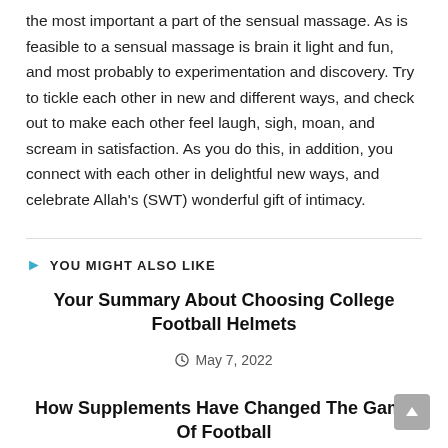the most important a part of the sensual massage. As is feasible to a sensual massage is brain it light and fun, and most probably to experimentation and discovery. Try to tickle each other in new and different ways, and check out to make each other feel laugh, sigh, moan, and scream in satisfaction. As you do this, in addition, you connect with each other in delightful new ways, and celebrate Allah's (SWT) wonderful gift of intimacy.
YOU MIGHT ALSO LIKE
Your Summary About Choosing College Football Helmets
May 7, 2022
How Supplements Have Changed The Game Of Football